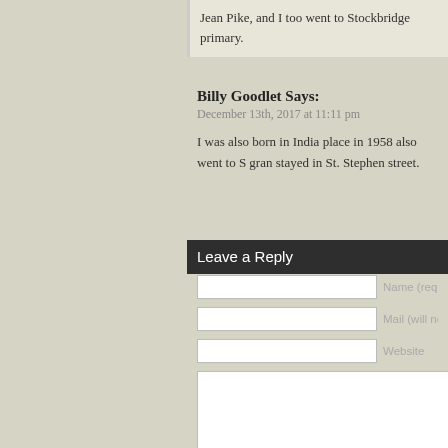Jean Pike, and I too went to Stockbridge primary.
Billy Goodlet Says:
December 13th, 2017 at 11:11 pm
I was also born in India place in 1958 also went to S gran stayed in St. Stephen street.
Leave a Reply
Name (requi
Mail (will not
Website
Submit Comment